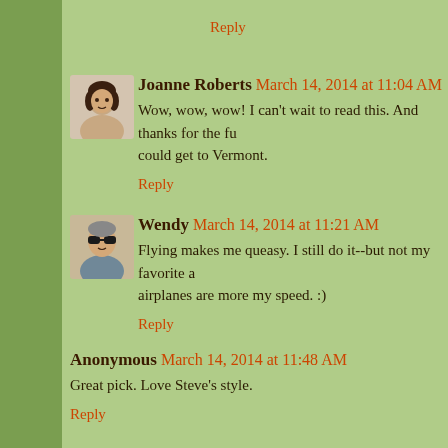Reply
Joanne Roberts  March 14, 2014 at 11:04 AM
Wow, wow, wow! I can't wait to read this. And thanks for the fu... could get to Vermont.
Reply
Wendy  March 14, 2014 at 11:21 AM
Flying makes me queasy. I still do it--but not my favorite ... airplanes are more my speed. :)
Reply
Anonymous  March 14, 2014 at 11:48 AM
Great pick. Love Steve's style.
Reply